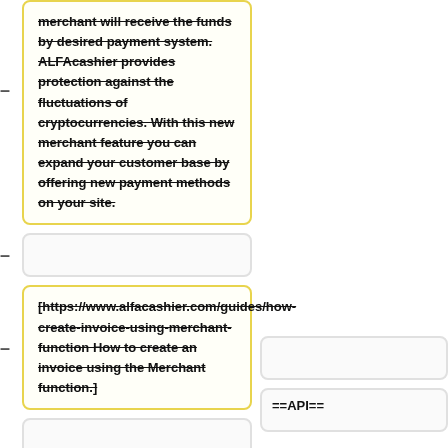merchant will receive the funds by desired payment system. ALFAcashier provides protection against the fluctuations of cryptocurrencies. With this new merchant feature you can expand your customer base by offering new payment methods on your site.
[https://www.alfacashier.com/guides/how-create-invoice-using-merchant-function How to create an invoice using the Merchant function.]
==API==
==API==